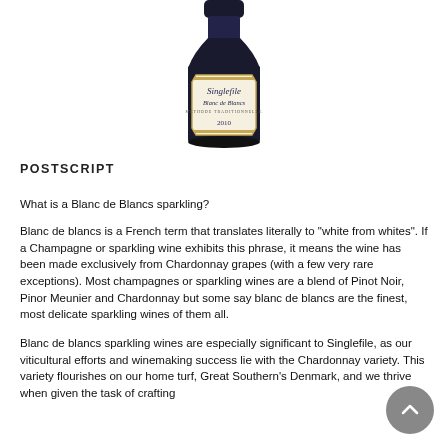[Figure (photo): A wine bottle with a dark glass body, gold foil cap, and a label reading 'Singlefile Blanc de Blancs 2010' on an octagonal cream/gold label.]
POSTSCRIPT
What is a Blanc de Blancs sparkling?
Blanc de blancs is a French term that translates literally to "white from whites". If a Champagne or sparkling wine exhibits this phrase, it means the wine has been made exclusively from Chardonnay grapes (with a few very rare exceptions). Most champagnes or sparkling wines are a blend of Pinot Noir, Pinor Meunier and Chardonnay but some say blanc de blancs are the finest, most delicate sparkling wines of them all.
Blanc de blancs sparkling wines are especially significant to Singlefile, as our viticultural efforts and winemaking success lie with the Chardonnay variety. This variety flourishes on our home turf, Great Southern's Denmark, and we thrive when given the task of crafting